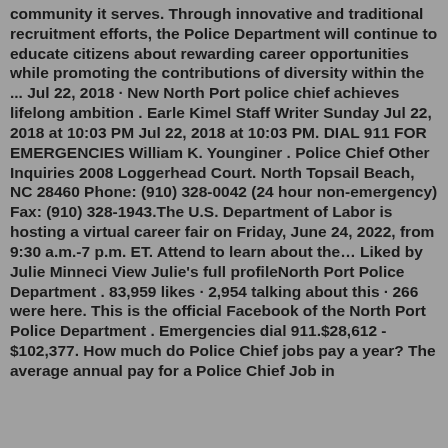community it serves. Through innovative and traditional recruitment efforts, the Police Department will continue to educate citizens about rewarding career opportunities while promoting the contributions of diversity within the ... Jul 22, 2018 · New North Port police chief achieves lifelong ambition . Earle Kimel Staff Writer Sunday Jul 22, 2018 at 10:03 PM Jul 22, 2018 at 10:03 PM. DIAL 911 FOR EMERGENCIES William K. Younginer . Police Chief Other Inquiries 2008 Loggerhead Court. North Topsail Beach, NC 28460 Phone: (910) 328-0042 (24 hour non-emergency) Fax: (910) 328-1943.The U.S. Department of Labor is hosting a virtual career fair on Friday, June 24, 2022, from 9:30 a.m.-7 p.m. ET. Attend to learn about the… Liked by Julie Minneci View Julie's full profileNorth Port Police Department . 83,959 likes · 2,954 talking about this · 266 were here. This is the official Facebook of the North Port Police Department . Emergencies dial 911.$28,612 - $102,377. How much do Police Chief jobs pay a year? The average annual pay for a Police Chief Job in